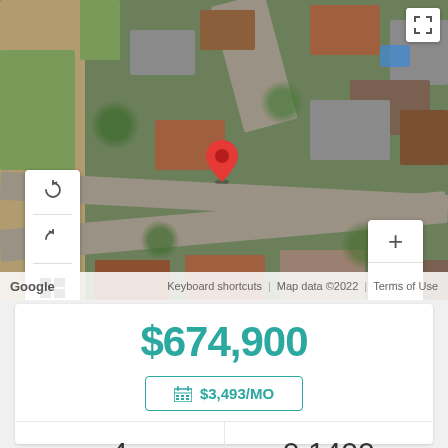[Figure (map): Google Maps satellite view with red location pin, map controls (rotate CW, rotate CCW, layer toggle on left; zoom in/out on right), fullscreen button, and Google attribution. Shows aerial view of a residential neighborhood with roads, rooftops, trees, and a swimming pool.]
$674,900
$3,493/MO
| Beds | Lot (acres) |
| --- | --- |
| 4 | 0.1400 |